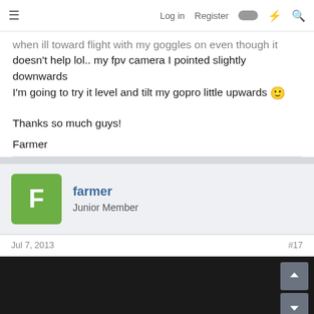Log in  Register
when ill toward flight with my goggles on even though it doesn't help lol.. my fpv camera I pointed slightly downwards I'm going to try it level and tilt my gopro little upwards 🙂
Thanks so much guys!
Farmer
farmer
Junior Member
Jul 7, 2013   #17
[Figure (screenshot): Dark video/media area with up and down arrow navigation buttons on the right side]